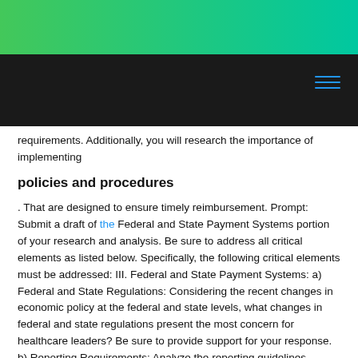requirements. Additionally, you will research the importance of implementing
policies and procedures
. That are designed to ensure timely reimbursement. Prompt: Submit a draft of the Federal and State Payment Systems portion of your research and analysis. Be sure to address all critical elements as listed below. Specifically, the following critical elements must be addressed: III. Federal and State Payment Systems: a) Federal and State Regulations: Considering the recent changes in economic policy at the federal and state levels, what changes in federal and state regulations present the most concern for healthcare leaders? Be sure to provide support for your response. b) Reporting Requirements: Analyze the reporting guidelines required by Medicaid and